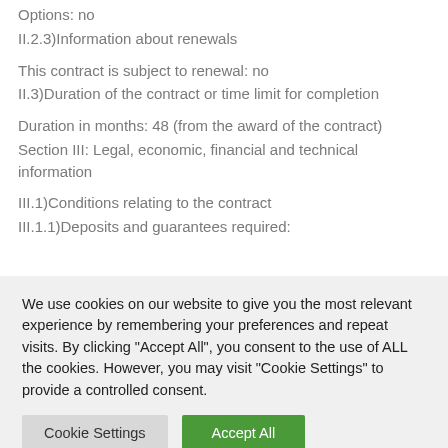Options: no
II.2.3)Information about renewals
This contract is subject to renewal: no
II.3)Duration of the contract or time limit for completion
Duration in months: 48 (from the award of the contract)
Section III: Legal, economic, financial and technical information
III.1)Conditions relating to the contract
III.1.1)Deposits and guarantees required:
We use cookies on our website to give you the most relevant experience by remembering your preferences and repeat visits. By clicking "Accept All", you consent to the use of ALL the cookies. However, you may visit "Cookie Settings" to provide a controlled consent.
Cookie Settings | Accept All